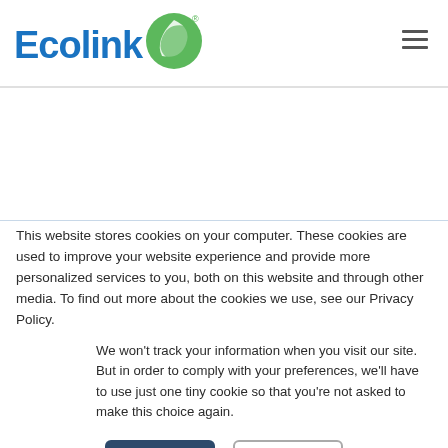[Figure (logo): Ecolink logo with blue text and green leaf graphic and registered trademark symbol]
This website stores cookies on your computer. These cookies are used to improve your website experience and provide more personalized services to you, both on this website and through other media. To find out more about the cookies we use, see our Privacy Policy.
We won't track your information when you visit our site. But in order to comply with your preferences, we'll have to use just one tiny cookie so that you're not asked to make this choice again.